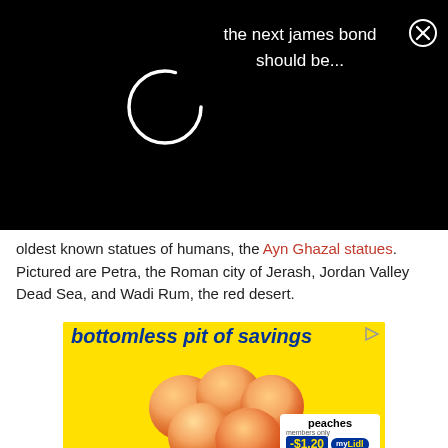[Figure (screenshot): Black top bar with a white loading spinner circle on the left, text 'the next james bond should be...' in white in the center, and a close (X) button on the right.]
oldest known statues of humans, the Ayn Ghazal statues. Pictured are Petra, the Roman city of Jerash, Jordan Valley Dead Sea, and Wadi Rum, the red desert.
[Figure (screenshot): Lidl advertisement banner. Yellow background with bold blue italic text 'bottomless pit of savings', showing peaches. Price badge shows 'peaches', 'members only', '-$1.20' discount in blue, Lidl 'myLidl' logo, and final price '2.99'. Below is a secondary Lidl strip with logo and text 'suspiciously low-priced groceries' and price '1.79'.]